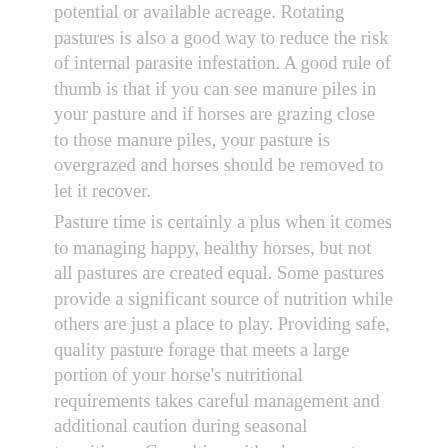potential or available acreage. Rotating pastures is also a good way to reduce the risk of internal parasite infestation. A good rule of thumb is that if you can see manure piles in your pasture and if horses are grazing close to those manure piles, your pasture is overgrazed and horses should be removed to let it recover.
Pasture time is certainly a plus when it comes to managing happy, healthy horses, but not all pastures are created equal. Some pastures provide a significant source of nutrition while others are just a place to play. Providing safe, quality pasture forage that meets a large portion of your horse's nutritional requirements takes careful management and additional caution during seasonal transitions.  Consulting with a horse pasture and forage expert in your area, such as the local county extension agent, a university agronomist or State Extension Horse Specialist, may help you maximize the safety